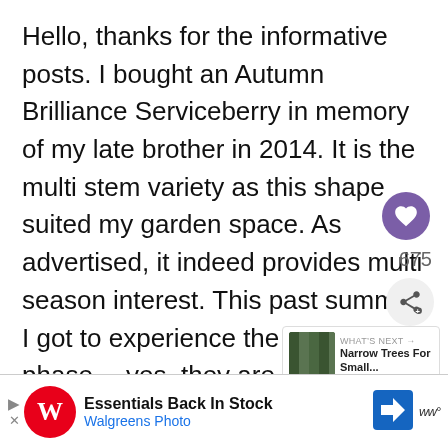Hello, thanks for the informative posts. I bought an Autumn Brilliance Serviceberry in memory of my late brother in 2014. It is the multi stem variety as this shape suited my garden space. As advertised, it indeed provides multi season interest. This past summer I got to experience the “berry” phase….yes, they are edible and yes, if yo’ plant this lovely tree next to your deck, it w be a “poop” deck.(sorry, could not resist) Birds LOVE these berries. So if you prepared for this fact, I still recommend this tr
[Figure (screenshot): Advertisement banner: Walgreens Photo - Essentials Back In Stock]